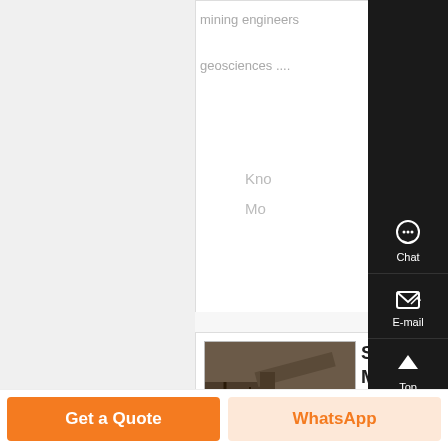mining engineers geosciences ....
Kno Mo
[Figure (photo): Industrial mining/conveyor equipment machinery photo]
Sepor | Manufactu & Distribu of ,
Manufacturers an Distributors of La & Pilot Scale Equ
Chat
E-mail
Top
Get a Quote
WhatsApp